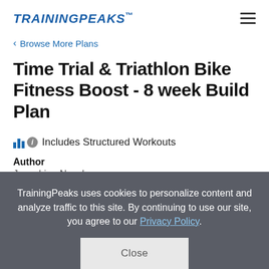TRAININGPEAKS
< Browse More Plans
Time Trial & Triathlon Bike Fitness Boost - 8 week Build Plan
Includes Structured Workouts
Author
Josephine Noack
TrainingPeaks uses cookies to personalize content and analyze traffic to this site. By continuing to use our site, you agree to our Privacy Policy.
Close